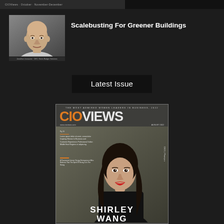[Figure (screenshot): Dark top navigation/header bar area]
[Figure (photo): Portrait photo of a bald man in a light shirt against a grey background]
Jonathan Jussaume · CEO, Green Badger Solutions
Scalebusting For Greener Buildings
Latest Issue
[Figure (photo): CIO Views magazine cover - August 2022, The Most Admired Women Leaders in Business 2022. Features Shirley Wang, CEO of Plastpro, described as A Passionate Interior Design Entrepreneur Who Believes That The Spirit Of Giving Is In The Giving.]